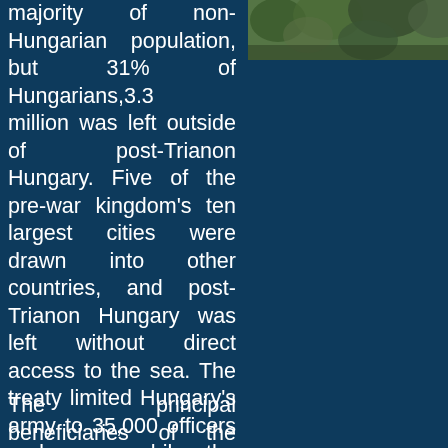[Figure (photo): Photo of trees or foliage visible in top-right corner of the page, partially cropped]
majority of non-Hungarian population, but 31% of Hungarians,3.3 million was left outside of post-Trianon Hungary. Five of the pre-war kingdom's ten largest cities were drawn into other countries, and post-Trianon Hungary was left without direct access to the sea. The treaty limited Hungary's army to 35,000 officers and men, while the Austro-Hungarian Navy ceased to exist.
The principal beneficiaries of the treaty's territorial division were the Kingdom